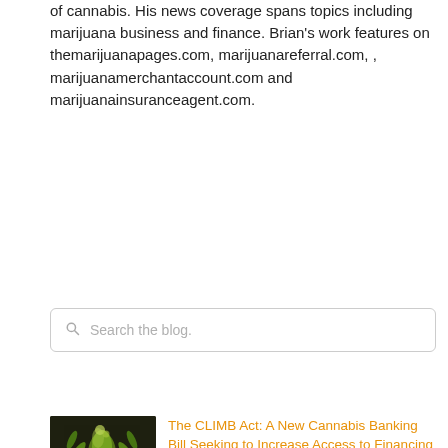of cannabis. His news coverage spans topics including marijuana business and finance. Brian's work features on themarijuanapages.com, marijuanareferral.com, , marijuanamerchantaccount.com and marijuanainsuranceagent.com.
[Figure (screenshot): Search bar with placeholder text 'Search the blog.' and a search icon]
[Figure (photo): Close-up photo of a cannabis plant with green buds, dark background, with 'mma' watermark text in lower left]
The CLIMB Act: A New Cannabis Banking Bill Seeking to Increase Access to Financing and Capital